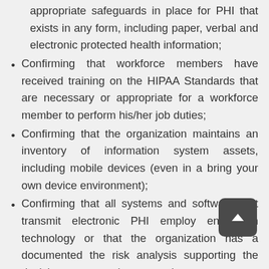appropriate safeguards in place for PHI that exists in any form, including paper, verbal and electronic protected health information;
Confirming that workforce members have received training on the HIPAA Standards that are necessary or appropriate for a workforce member to perform his/her job duties;
Confirming that the organization maintains an inventory of information system assets, including mobile devices (even in a bring your own device environment);
Confirming that all systems and software that transmit electronic PHI employ encryption technology or that the organization has a documented the risk analysis supporting the decision not to employ encryption;
Confirming that the organization has adopted a